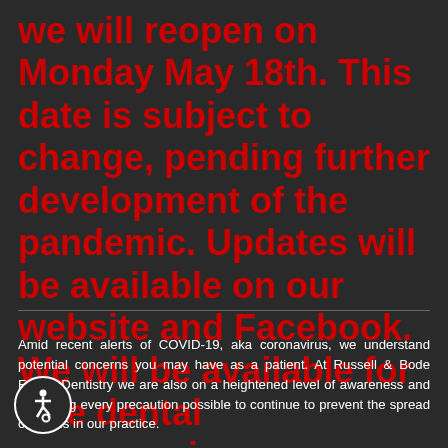we will reopen on Monday May 18th. This date is subject to change, pending further development of the pandemic.  Updates will be available on our website and Facebook.  We will be available for true dental emergencies.
Amid recent alerts of COVID-19, aka coronavirus, we understand potential concerns you may have as a patient. At Russell & Bode Family Dentistry we are also on a heightened level of awareness and are taking every precaution possible to continue to prevent the spread of germs in our practice.
While ensuring cleanliness is part of our daily routine and of utmost importance to our practice, we know it may be more "behind the scenes" a process of which our patients are entirely aware. Therefore, we find it important to share with you that we practice the highest level of cleanliness and sanitation possible, throughout our office, and will